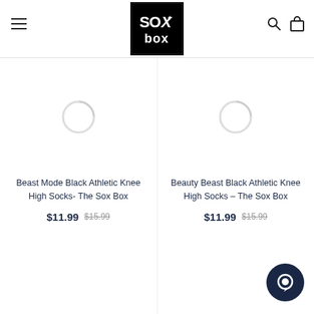[Figure (logo): Sox Box logo — white text on black square with border]
[Figure (photo): Product image loading spinner for Beast Mode Black Athletic Knee High Socks]
Beast Mode Black Athletic Knee High Socks- The Sox Box
$11.99   $15.99
[Figure (photo): Product image loading spinner for Beauty Beast Black Athletic Knee High Socks]
Beauty Beast Black Athletic Knee High Socks – The Sox Box
$11.99   $15.99